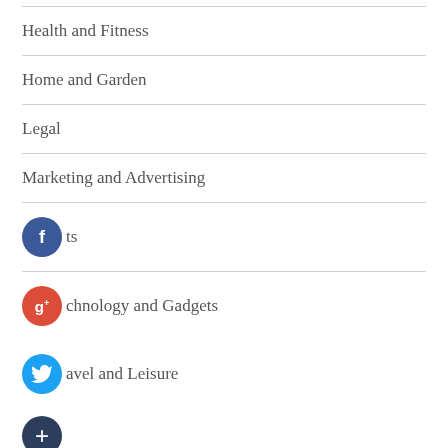Health and Fitness
Home and Garden
Legal
Marketing and Advertising
Sports
Technology and Gadgets
Travel and Leisure
AUTHOR BIO